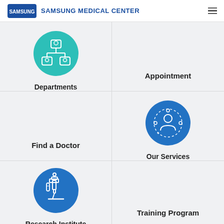[Figure (logo): Samsung Medical Center logo with Samsung logo and text]
[Figure (infographic): Six navigation menu items: Departments (org chart icon, teal), Appointment (text only), Find a Doctor (text only), Our Services (person/network icon, blue), Research Institute (microscope icon, blue), Training Program (text only)]